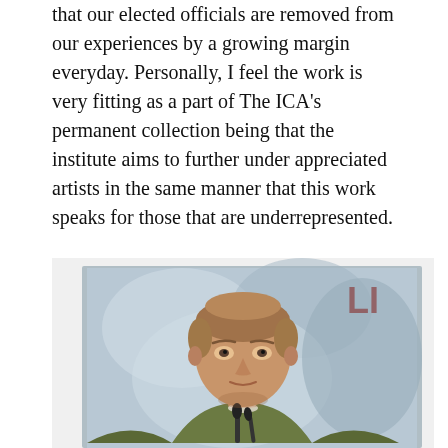that our elected officials are removed from our experiences by a growing margin everyday. Personally, I feel the work is very fitting as a part of The ICA's permanent collection being that the institute aims to further under appreciated artists in the same manner that this work speaks for those that are underrepresented.
"March For Our Lives" by Keith Mayerson
[Figure (photo): A painting of a young person with short hair speaking at a podium with microphones, wearing a green jacket, against a light blue/grey abstract background. Partial text 'LI' visible in upper right corner of the painting. The painting is displayed on a white wall.]